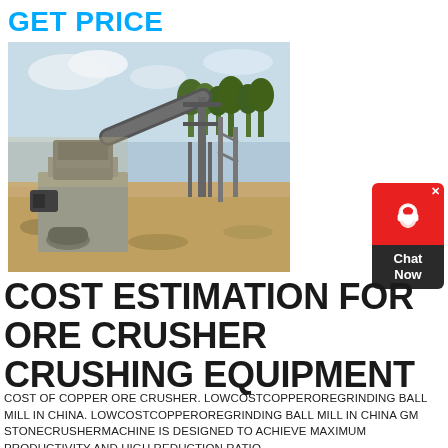GET PRICE
[Figure (photo): Industrial ore crushing equipment at a mining site — a large stone crusher machine with conveyor belts on a dirt ground with trees in background]
[Figure (other): Chat Now widget — red top with headset icon and X close button, dark bottom with 'Chat Now' text]
COST ESTIMATION FOR ORE CRUSHER CRUSHING EQUIPMENT
COST OF COPPER ORE CRUSHER. LOWCOSTCOPPEROREGRINDING BALL MILL IN CHINA. LOWCOSTCOPPEROREGRINDING BALL MILL IN CHINA GM STONECRUSHERMACHINE IS DESIGNED TO ACHIEVE MAXIMUM PRODUCTIVITY AND HIGH REDUCTION RATIO.